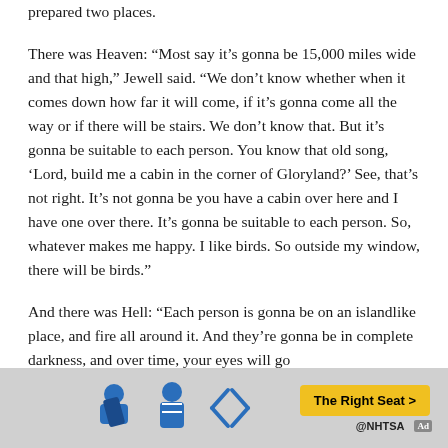prepared two places.
There was Heaven: “Most say it’s gonna be 15,000 miles wide and that high,” Jewell said. “We don’t know whether when it comes down how far it will come, if it’s gonna come all the way or if there will be stairs. We don’t know that. But it’s gonna be suitable to each person. You know that old song, ‘Lord, build me a cabin in the corner of Gloryland?’ See, that’s not right. It’s not gonna be you have a cabin over here and I have one over there. It’s gonna be suitable to each person. So, whatever makes me happy. I like birds. So outside my window, there will be birds.”
And there was Hell: “Each person is gonna be on an islandlike place, and fire all around it. And they’re gonna be in complete darkness, and over time, your eyes will go
[Figure (infographic): NHTSA car seat safety advertisement banner with icon illustrations of child car seats and The Right Seat button]